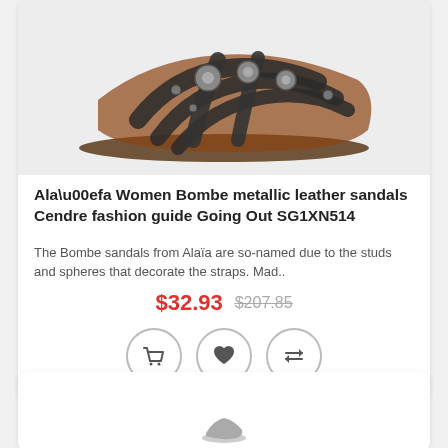[Figure (photo): Product photo of dark metallic leather sandals with stud and sphere decorations on the straps, shown from above on a light grey background.]
Ala\u00efa Women Bombe metallic leather sandals Cendre fashion guide Going Out SG1XN514
The Bombe sandals from Alaïa are so-named due to the studs and spheres that decorate the straps. Mad..
$32.93  $207.85
[Figure (infographic): Three circular action icon buttons: shopping cart, heart/wishlist, and compare arrows.]
[Figure (photo): Second product card (partially visible), showing beginning of another product with a small shoe icon at the bottom.]